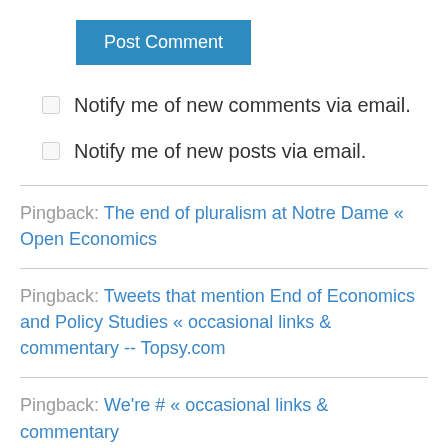Post Comment
Notify me of new comments via email.
Notify me of new posts via email.
Pingback: The end of pluralism at Notre Dame « Open Economics
Pingback: Tweets that mention End of Economics and Policy Studies « occasional links & commentary -- Topsy.com
Pingback: We're # « occasional links & commentary